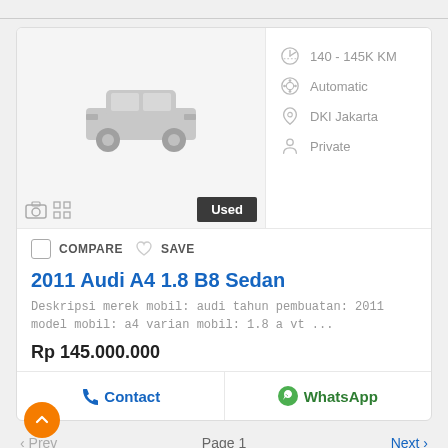[Figure (screenshot): Car listing card showing a gray car placeholder icon with camera and grid icons at bottom-left and a 'Used' badge at bottom-right]
140 - 145K KM
Automatic
DKI Jakarta
Private
COMPARE SAVE
2011 Audi A4 1.8 B8 Sedan
Deskripsi merek mobil: audi tahun pembuatan: 2011 model mobil: a4 varian mobil: 1.8 a vt ...
Rp 145.000.000
Contact
WhatsApp
‹ Prev   Page 1   Next ›